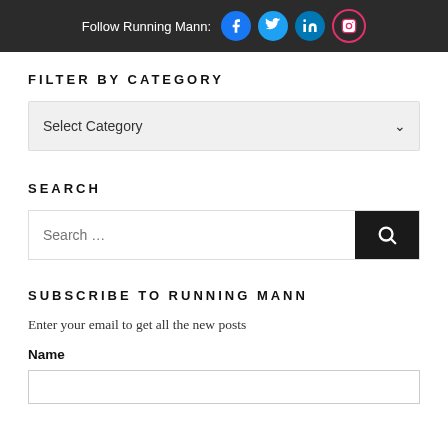Follow Running Mann:
FILTER BY CATEGORY
Select Category
SEARCH
Search …
SUBSCRIBE TO RUNNING MANN
Enter your email to get all the new posts
Name